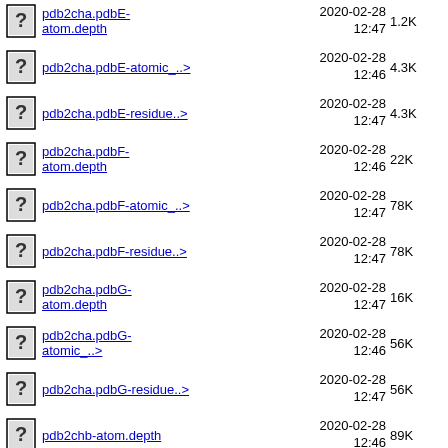pdb2cha.pdbE-atom.depth  2020-02-28 12:47  1.2K
pdb2cha.pdbE-atomic_..>  2020-02-28 12:46  4.3K
pdb2cha.pdbE-residue..>  2020-02-28 12:47  4.3K
pdb2cha.pdbF-atom.depth  2020-02-28 12:46  22K
pdb2cha.pdbF-atomic_..>  2020-02-28 12:47  78K
pdb2cha.pdbF-residue..>  2020-02-28 12:47  78K
pdb2cha.pdbG-atom.depth  2020-02-28 12:47  16K
pdb2cha.pdbG-atomic_..>  2020-02-28 12:46  56K
pdb2cha.pdbG-residue..>  2020-02-28 12:47  56K
pdb2chb-atom.depth  2020-02-28 12:46  89K
pdb2chb-atomic_depth..>  2020-02-28 12:47  322K